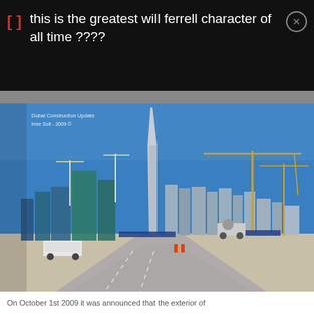this is the greatest will ferrell character of all time ????
[Figure (photo): Dubai skyline under construction with Burj Khalifa tower prominently in center, cranes and construction equipment visible, road in foreground, clear blue sky. Watermark reads: Dubai Construction Update, Imre Solt - 2009 ©]
On October 1st 2009 it was announced that the exterior of